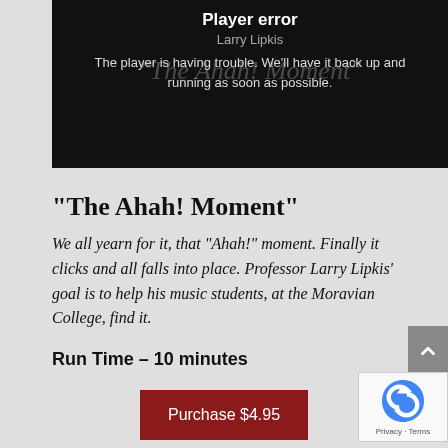[Figure (screenshot): Video player showing error message with black background. Title reads 'Player error', subtitle 'Larry Lipkis', and watermark text 'The Ahah! Moment' visible behind the error message. Error text: 'The player is having trouble. We'll have it back up and running as soon as possible.']
“The Ahah! Moment”
We all yearn for it, that “Ahah!” moment. Finally it clicks and all falls into place. Professor Larry Lipkis’ goal is to help his music students, at the Moravian College, find it.
Run Time – 10 minutes
Purchase $4.95